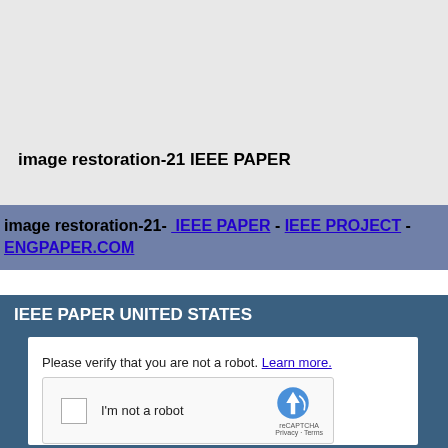image restoration-11
image restoration-22
image restoration-21 IEEE PAPER
image restoration-21- IEEE PAPER - IEEE PROJECT - ENGPAPER.COM
IEEE PAPER UNITED STATES
Please verify that you are not a robot. Learn more.
[Figure (other): reCAPTCHA widget with checkbox labeled I'm not a robot]